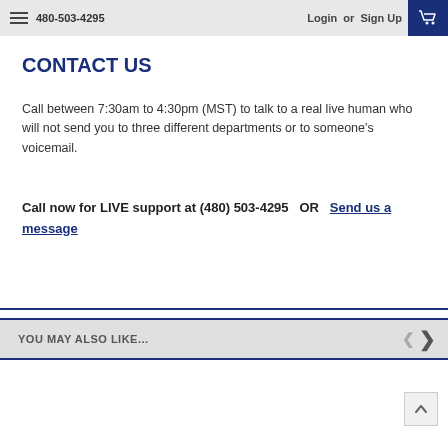480-503-4295   Login or Sign Up
CONTACT US
Call between 7:30am to 4:30pm (MST) to talk to a real live human who will not send you to three different departments or to someone's voicemail.
Call now for LIVE support at (480) 503-4295   OR   Send us a message
YOU MAY ALSO LIKE...